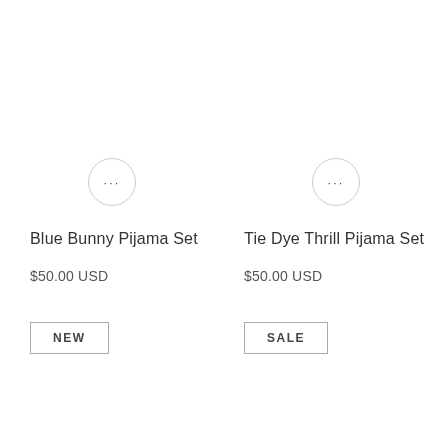Blue Bunny Pijama Set
$50.00 USD
NEW
Tie Dye Thrill Pijama Set
$50.00 USD
SALE